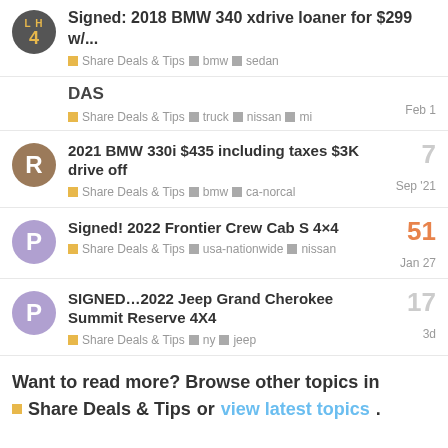Signed: 2018 BMW 340 xdrive loaner for $299 w/... | Share Deals & Tips bmw sedan
DAS | Share Deals & Tips truck nissan mi | Feb 1
2021 BMW 330i $435 including taxes $3K drive off | Share Deals & Tips bmw ca-norcal | Sep '21 | 7
Signed! 2022 Frontier Crew Cab S 4×4 | Share Deals & Tips usa-nationwide nissan | Jan 27 | 51
SIGNED…2022 Jeep Grand Cherokee Summit Reserve 4X4 | Share Deals & Tips ny jeep | 3d | 17
Want to read more? Browse other topics in Share Deals & Tips or view latest topics.